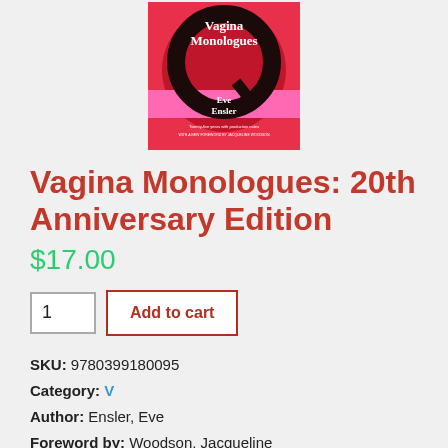[Figure (photo): Book cover of 'Vagina Monologues: 20th Anniversary Edition' by Eve Ensler, pink and red cover with large Q graphic]
Vagina Monologues: 20th Anniversary Edition
$17.00
1  Add to cart
SKU: 9780399180095
Category: V
Author: Ensler, Eve
Foreword by: Woodson, Jacqueline
Publication Date: 01/09/2018